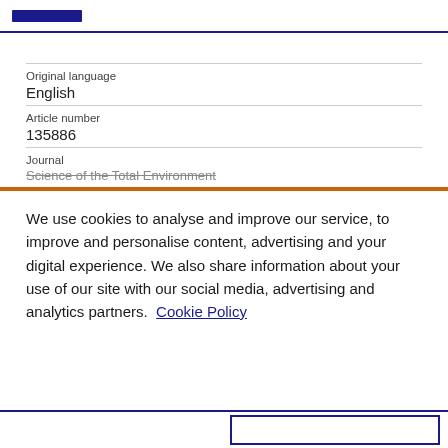Original language
English
Article number
135886
Journal
Science of the Total Environment
We use cookies to analyse and improve our service, to improve and personalise content, advertising and your digital experience. We also share information about your use of our site with our social media, advertising and analytics partners.  Cookie Policy